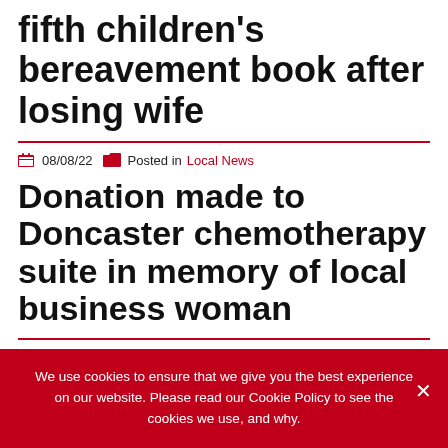fifth children's bereavement book after losing wife
08/08/22   Posted in Local News
Donation made to Doncaster chemotherapy suite in memory of local business woman
We use cookies to ensure that we give you the best experience on our website. Please read our Cookie Policy to see the cookies we use, and why.